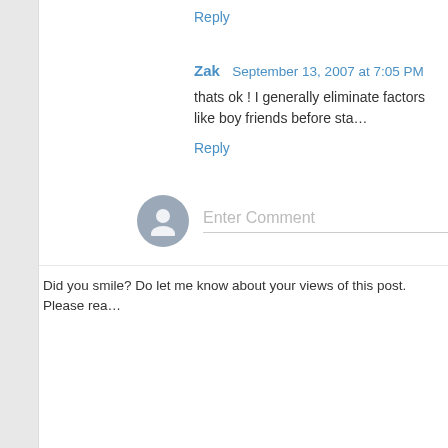Reply
Zak  September 13, 2007 at 7:05 PM
thats ok ! I generally eliminate factors like boy friends before sta…
Reply
[Figure (illustration): Generic user avatar circle with silhouette icon]
Enter Comment
Did you smile? Do let me know about your views of this post. Please rea…
Newer Post
Home
Subscribe to: Post C…